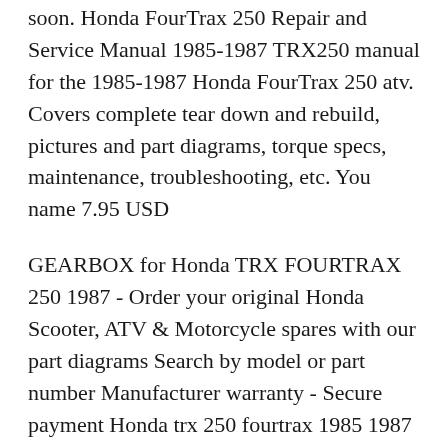soon. Honda FourTrax 250 Repair and Service Manual 1985-1987 TRX250 manual for the 1985-1987 Honda FourTrax 250 atv. Covers complete tear down and rebuild, pictures and part diagrams, torque specs, maintenance, troubleshooting, etc. You name 7.95 USD
GEARBOX for Honda TRX FOURTRAX 250 1987 - Order your original Honda Scooter, ATV & Motorcycle spares with our part diagrams Search by model or part number Manufacturer warranty - Secure payment Honda trx 250 fourtrax 1985 1987 service manual download 1. Honda TRX 250 Fourtrax 1985-1987Service Manual DOWNLOADINSTANT DOWNLOAD This is the most complete Service Repair Manual for the 1985-1987 HondaTRX250 / Fourtrax 250